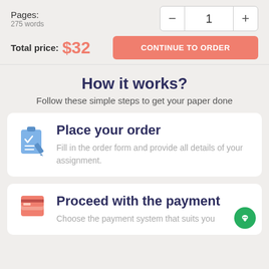Pages: 275 words
Total price: $32
CONTINUE TO ORDER
How it works?
Follow these simple steps to get your paper done
Place your order
Fill in the order form and provide all details of your assignment.
Proceed with the payment
Choose the payment system that suits you